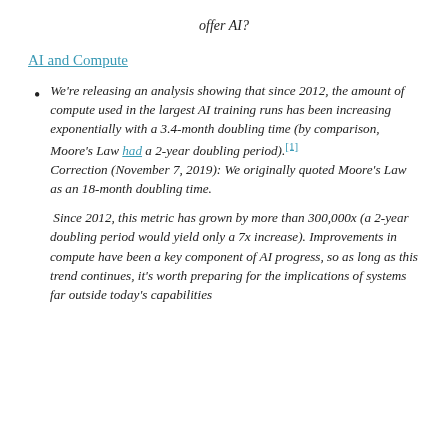offer AI?
AI and Compute
We're releasing an analysis showing that since 2012, the amount of compute used in the largest AI training runs has been increasing exponentially with a 3.4-month doubling time (by comparison, Moore's Law had a 2-year doubling period).[1] Correction (November 7, 2019): We originally quoted Moore's Law as an 18-month doubling time.
Since 2012, this metric has grown by more than 300,000x (a 2-year doubling period would yield only a 7x increase). Improvements in compute have been a key component of AI progress, so as long as this trend continues, it's worth preparing for the implications of systems far outside today's capabilities